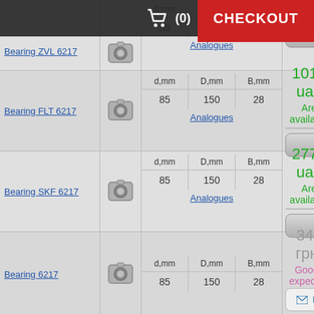| Name | Photo | d,mm | D,mm | B,mm | Price | Status | Action |
| --- | --- | --- | --- | --- | --- | --- | --- |
| Bearing ZVL 6217 |  | 85 | 150 | 28 |  |  | Analogues | Buy |
| Bearing FLT 6217 |  | 85 | 150 | 28 | 1016 uah | Are available | Analogues | Buy |
| Bearing SKF 6217 |  | 85 | 150 | 28 | 2778 uah | Are available | Analogues | Buy |
| Bearing 6217 |  | 85 | 150 | 28 | 346 грн. | Goods expected |  | Notify me of admission |